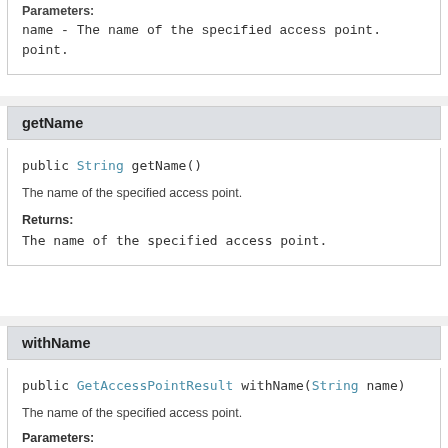Parameters:
name - The name of the specified access point.
getName
public String getName()
The name of the specified access point.
Returns:
The name of the specified access point.
withName
public GetAccessPointResult withName(String name)
The name of the specified access point.
Parameters:
name - The name of the specified access point.